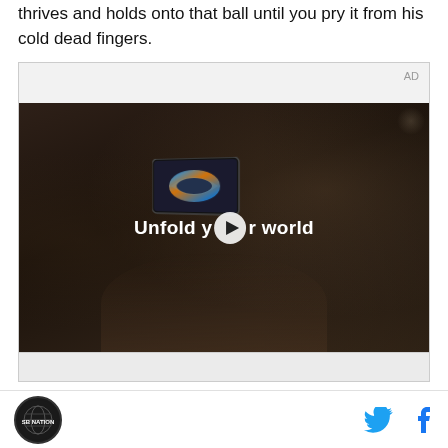thrives and holds onto that ball until you pry it from his cold dead fingers.
[Figure (screenshot): Advertisement banner containing a video player showing a Samsung foldable phone advertisement. A person is seated in a car holding a foldable smartphone. The text overlay reads 'Unfold your world' with a play button in the center. The top right of the ad container shows 'AD' label.]
SB Nation logo icon, Twitter bird icon, Facebook 'f' icon